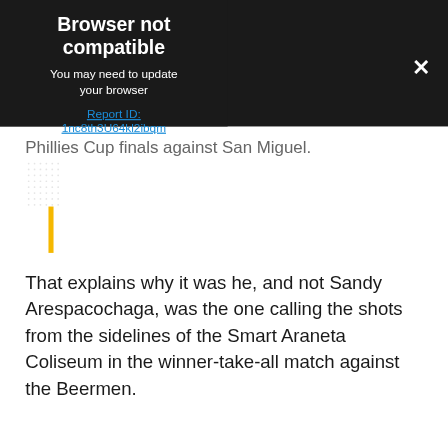[Figure (screenshot): Browser not compatible error overlay on a dark background. Shows title 'Browser not compatible', subtitle 'You may need to update your browser', and a Report ID link '1nc8th3U64kl2ibqm'. A close X button is visible on the right side.]
Phillies Cup finals against San Miguel.
That explains why it was he, and not Sandy Arespacochaga, was the one calling the shots from the sidelines of the Smart Araneta Coliseum in the winner-take-all match against the Beermen.
Reyes, of course, is also the head coach of the Philippines national team of TNT...